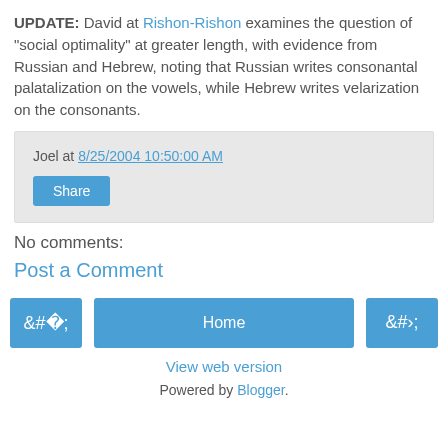UPDATE: David at Rishon-Rishon examines the question of "social optimality" at greater length, with evidence from Russian and Hebrew, noting that Russian writes consonantal palatalization on the vowels, while Hebrew writes velarization on the consonants.
Joel at 8/25/2004 10:50:00 AM
Share
No comments:
Post a Comment
‹
Home
›
View web version
Powered by Blogger.